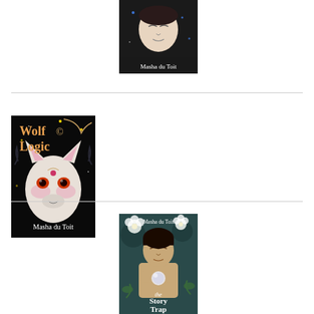[Figure (illustration): Book cover partially visible at top center — dark background with a pale face and stars, author name 'Masha du Toit' in white text at bottom]
[Figure (illustration): Book cover 'Wolf Logic' by Masha du Toit — black background with illustrated white/pink wolf face with glowing eyes, decorative star and floral motifs, title text in warm orange/gold at top left, author name at bottom]
[Figure (illustration): Book cover 'the Story Trap' by Masha du Toit — teal/dark background with illustrated figure of a person with closed eyes holding a glowing orb, surrounded by white flowers, author name at top, title text at bottom in white italic]